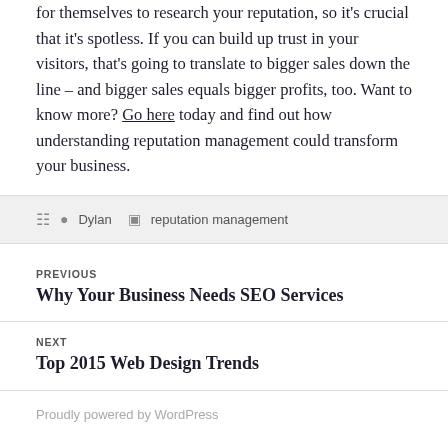for themselves to research your reputation, so it's crucial that it's spotless. If you can build up trust in your visitors, that's going to translate to bigger sales down the line – and bigger sales equals bigger profits, too. Want to know more? Go here today and find out how understanding reputation management could transform your business.
Dylan  reputation management
PREVIOUS
Why Your Business Needs SEO Services
NEXT
Top 2015 Web Design Trends
Proudly powered by WordPress